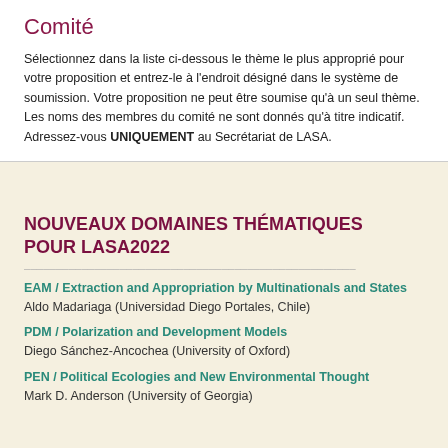Comité
Sélectionnez dans la liste ci-dessous le thème le plus approprié pour votre proposition et entrez-le à l'endroit désigné dans le système de soumission. Votre proposition ne peut être soumise qu'à un seul thème. Les noms des membres du comité ne sont donnés qu'à titre indicatif. Adressez-vous UNIQUEMENT au Secrétariat de LASA.
NOUVEAUX DOMAINES THÉMATIQUES POUR LASA2022
EAM / Extraction and Appropriation by Multinationals and States
Aldo Madariaga (Universidad Diego Portales, Chile)
PDM / Polarization and Development Models
Diego Sánchez-Ancochea (University of Oxford)
PEN / Political Ecologies and New Environmental Thought
Mark D. Anderson (University of Georgia)